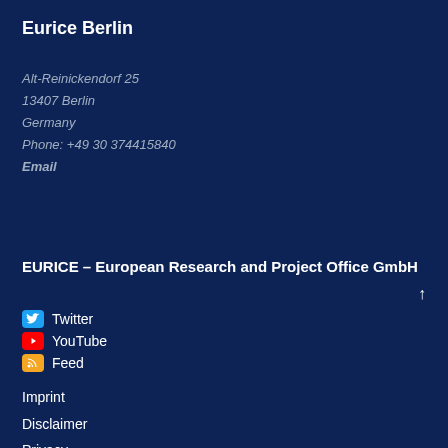Eurice Berlin
Alt-Reinickendorf 25
13407 Berlin
Germany
Phone: +49 30 374415840
Email
EURICE – European Research and Project Office GmbH
Twitter
YouTube
Feed
Imprint
Disclaimer
Privacy